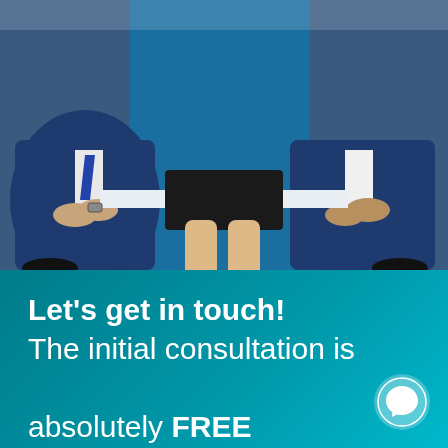[Figure (photo): Three business professionals in blue suits sitting together — two men on either side and a woman in the center wearing a black dress and heels, seated on a ledge against a blue background. Only their lower bodies and torsos are visible.]
Let's get in touch!
The initial consultation is absolutely FREE